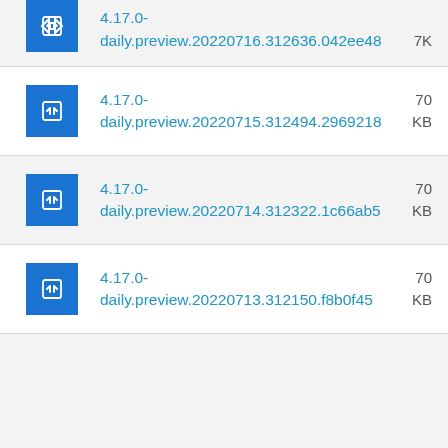4.17.0-daily.preview.20220716.312636.042ee48  7K
4.17.0-daily.preview.20220715.312494.2969218  70 KB
4.17.0-daily.preview.20220714.312322.1c66ab5  70 KB
4.17.0-daily.preview.20220713.312150.f8b0f45  70 KB